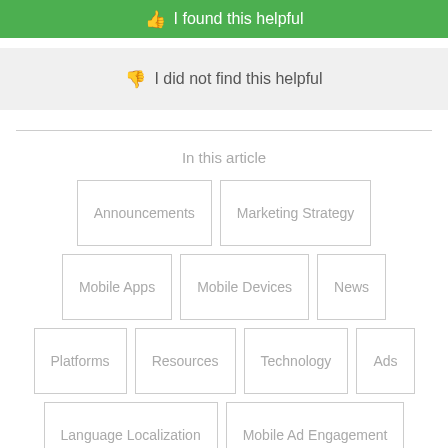I found this helpful
I did not find this helpful
In this article
Announcements
Marketing Strategy
Mobile Apps
Mobile Devices
News
Platforms
Resources
Technology
Ads
Language Localization
Mobile Ad Engagement
Mobile Advertising